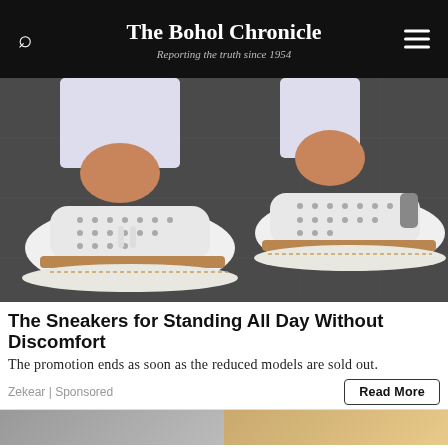The Bohol Chronicle — Reporting the truth since 1954
[Figure (photo): Close-up photo of a person wearing white sneakers with perforated upper, tan/brown espadrille-style sole, with white jeans, on a dark pavement surface.]
The Sneakers for Standing All Day Without Discomfort
The promotion ends as soon as the reduced models are sold out.
Zekear | Sponsored
Read More